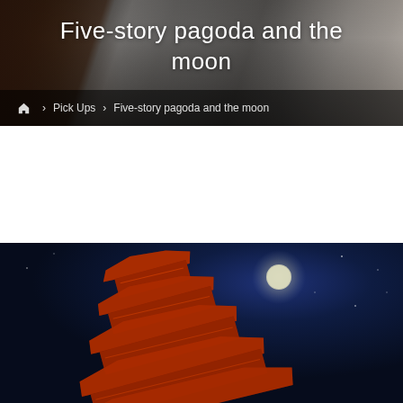[Figure (photo): Hero banner showing a Japanese street scene (empty road flanked by traditional buildings) with a dark semi-transparent overlay, used as background for the page title.]
Five-story pagoda and the moon
🏠  ›  Pick Ups  ›  Five-story pagoda and the moon
[Figure (photo): Nighttime photograph of an illuminated five-story Japanese pagoda (red/orange tones) against a deep dark-blue night sky, with the moon visible in the upper-right area.]